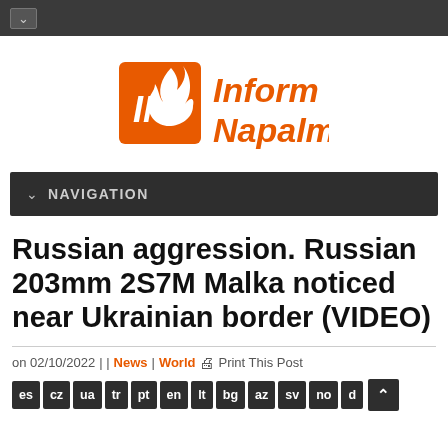[Figure (logo): InformNapalm logo: orange square with stylized IN letters and flame, next to bold italic orange text 'Inform Napalm']
NAVIGATION
Russian aggression. Russian 203mm 2S7M Malka noticed near Ukrainian border (VIDEO)
on 02/10/2022 | | News | World  Print This Post
es  cz  ua  tr  pt  en  lt  bg  az  sv  no  d